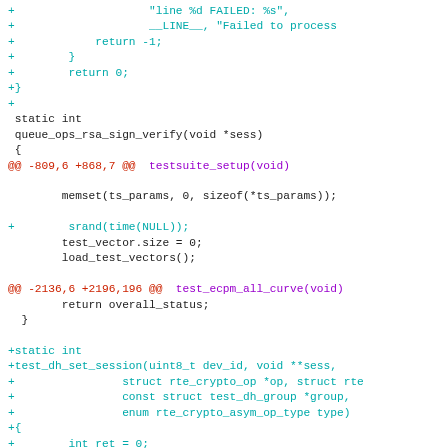[Figure (screenshot): Code diff screenshot showing C source code changes with cyan added lines, red diff headers, and purple function names in monospace font]